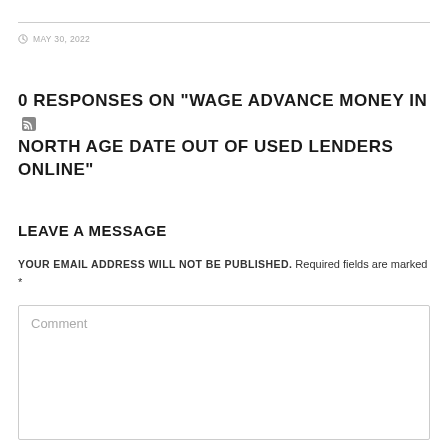MAY 30, 2022
0 RESPONSES ON "WAGE ADVANCE MONEY IN NORTH AGE DATE OUT OF USED LENDERS ONLINE"
LEAVE A MESSAGE
YOUR EMAIL ADDRESS WILL NOT BE PUBLISHED. Required fields are marked *
Comment